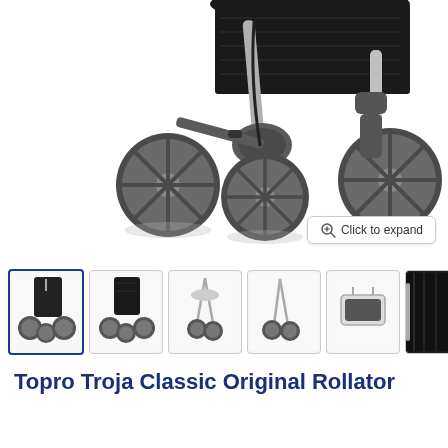[Figure (photo): Close-up photo of a Topro Troja Classic Original Rollator showing the lower frame, wheels, and black bag/basket from a low angle against a white background.]
[Figure (screenshot): 'Click to expand' button overlay on the main product image.]
[Figure (photo): Row of 6 thumbnail images of the Topro Troja Classic Original Rollator from different angles. The first thumbnail is selected (highlighted with blue border).]
Topro Troja Classic Original Rollator